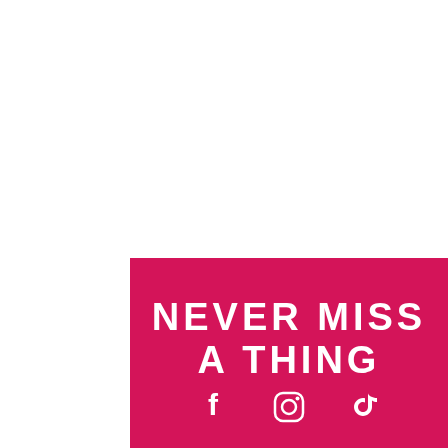[Figure (infographic): Pink/crimson banner with white text 'NEVER MISS A THING' and social media icons (Facebook, Instagram, TikTok) below]